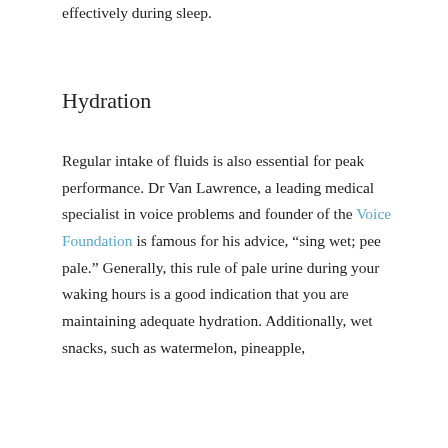regenerates cells faster and more effectively during sleep.
Hydration
Regular intake of fluids is also essential for peak performance. Dr Van Lawrence, a leading medical specialist in voice problems and founder of the Voice Foundation is famous for his advice, “sing wet; pee pale.” Generally, this rule of pale urine during your waking hours is a good indication that you are maintaining adequate hydration. Additionally, wet snacks, such as watermelon, pineapple,